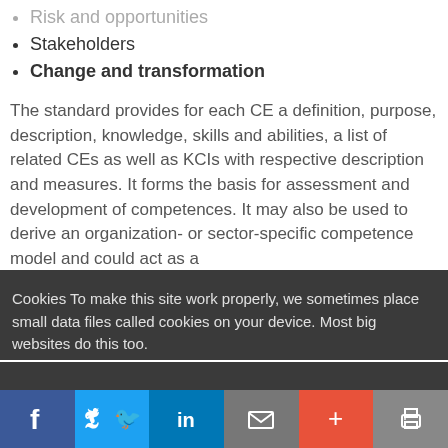Risk and opportunities
Stakeholders
Change and transformation
The standard provides for each CE a definition, purpose, description, knowledge, skills and abilities, a list of related CEs as well as KCIs with respective description and measures. It forms the basis for assessment and development of competences. It may also be used to derive an organization- or sector-specific competence model and could act as a
Cookies To make this site work properly, we sometimes place small data files called cookies on your device. Most big websites do this too.
Accept
Read more